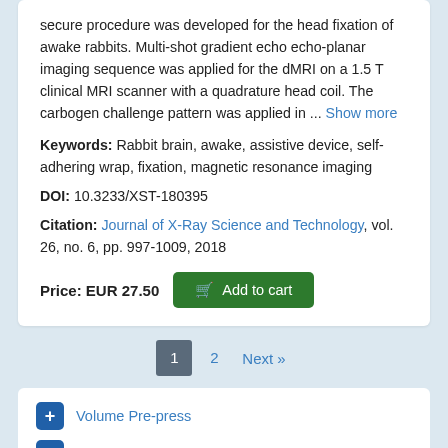secure procedure was developed for the head fixation of awake rabbits. Multi-shot gradient echo echo-planar imaging sequence was applied for the dMRI on a 1.5 T clinical MRI scanner with a quadrature head coil. The carbogen challenge pattern was applied in ... Show more
Keywords: Rabbit brain, awake, assistive device, self-adhering wrap, fixation, magnetic resonance imaging
DOI: 10.3233/XST-180395
Citation: Journal of X-Ray Science and Technology, vol. 26, no. 6, pp. 997-1009, 2018
Price: EUR 27.50   Add to cart
1
2
Next »
+ Volume Pre-press
+ Volume 30
+ Volume 29